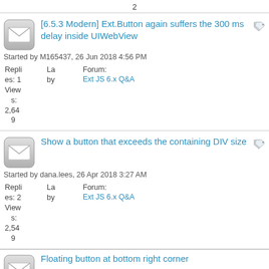2
[6.5.3 Modern] Ext.Button again suffers the 300 ms delay inside UIWebView
Started by M165437, 26 Jun 2018 4:56 PM
Replies: 1  Views: 2,649  Last by  Forum: Ext JS 6.x Q&A
Show a button that exceeds the containing DIV size
Started by dana.lees, 26 Apr 2018 3:27 AM
Replies: 2  Views: 2,549  Last by  Forum: Ext JS 6.x Q&A
Floating button at bottom right corner